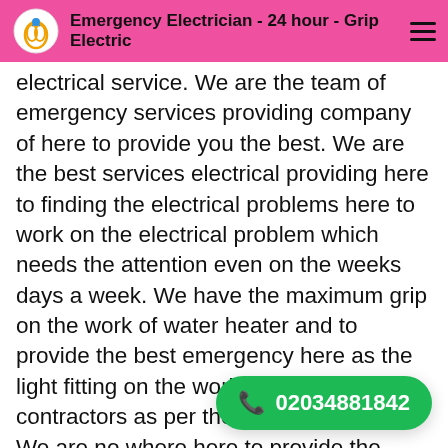Emergency Electrician - 24 hour - Grip Electric
electrical service. We are the team of emergency services providing company of here to provide you the best. We are the best services electrical providing here to finding the electrical problems here to work on the electrical problem which needs the attention even on the weeks days a week. We have the maximum grip on the work of water heater and to provide the best emergency here as the light fitting on the work by the electrical contractors as per the electrical service. We are no where here to provide the emergency services and services electrical and other work all the ways to work on it. If you are ready to find the best problems related to find some electrical problems related to the